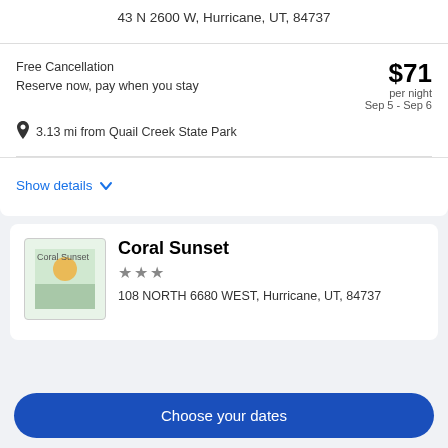43 N 2600 W, Hurricane, UT, 84737
Free Cancellation
Reserve now, pay when you stay
$71 per night
Sep 5 - Sep 6
3.13 mi from Quail Creek State Park
Show details
Coral Sunset
★★★
108 NORTH 6680 WEST, Hurricane, UT, 84737
Choose your dates